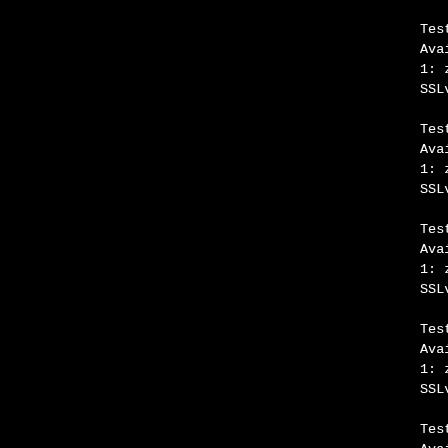1 handshakes of 256 bytes
Testing CAMELLIA256-SHA
Available compression meth
1: zlib compression
SSLv3, cipher TLSv1/SSLv3
1 handshakes of 256 bytes
Testing AES128-SHA
Available compression meth
1: zlib compression
SSLv3, cipher TLSv1/SSLv3
1 handshakes of 256 bytes
Testing SEED-SHA
Available compression meth
1: zlib compression
SSLv3, cipher TLSv1/SSLv3
1 handshakes of 256 bytes
Testing CAMELLIA128-SHA
Available compression meth
1: zlib compression
SSLv3, cipher TLSv1/SSLv3
1 handshakes of 256 bytes
Testing IDEA-CBC-SHA
Available compression meth
1: zlib compression